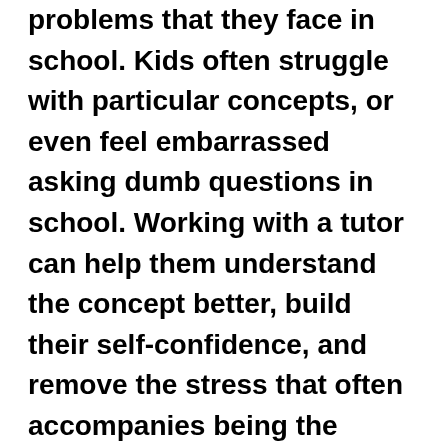problems that they face in school. Kids often struggle with particular concepts, or even feel embarrassed asking dumb questions in school. Working with a tutor can help them understand the concept better, build their self-confidence, and remove the stress that often accompanies being the center of attention. While tutoring may be a rewarding experience for students, it also requires patience. Tutors should be willing to answer questions directly, and